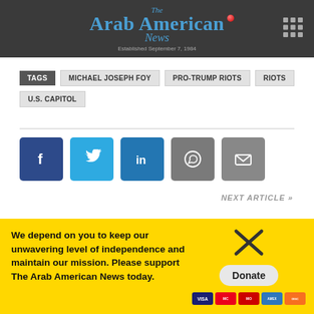The Arab American News — Established September 7, 1984
TAGS  MICHAEL JOSEPH FOY  PRO-TRUMP RIOTS  RIOTS  U.S. CAPITOL
[Figure (infographic): Social share buttons: Facebook, Twitter, LinkedIn, WhatsApp, Email]
NEXT ARTICLE »
We depend on you to keep our unwavering level of independence and maintain our mission. Please support The Arab American News today.